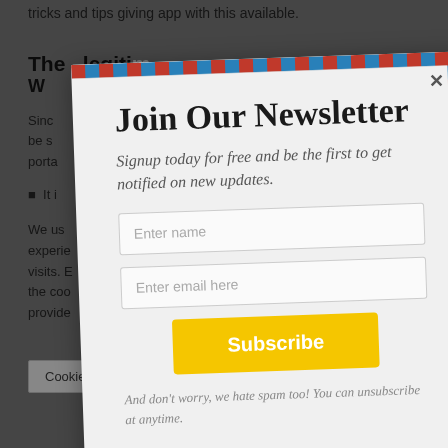tricks and tips giving app with this available.
The legiti
W
Sinc be s porta
It i
We us experie visits. E the coo provide
Cookie S
[Figure (screenshot): Newsletter signup modal with airmail envelope border design. Contains title 'Join Our Newsletter', subtitle 'Signup today for free and be the first to get notified on new updates.', name input field, email input field, Subscribe button in yellow, and spam disclaimer text.]
Join Our Newsletter
Signup today for free and be the first to get notified on new updates.
Enter name
Enter email here
Subscribe
And don't worry, we hate spam too! You can unsubscribe at anytime.